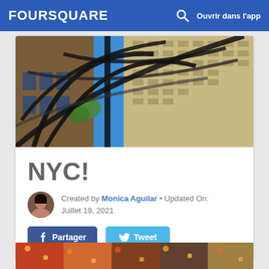FOURSQUARE   Ouvrir dans l'app
[Figure (photo): Photo of Rockefeller Center or Atlas sculpture taken from below, showing building facade and curved metal rings against blue sky]
NYC!
Created by Monica Aguilar • Updated On: Juillet 19, 2021
Partager   Tweet
[Figure (photo): Partial bottom strip showing market or decorated venue scene]